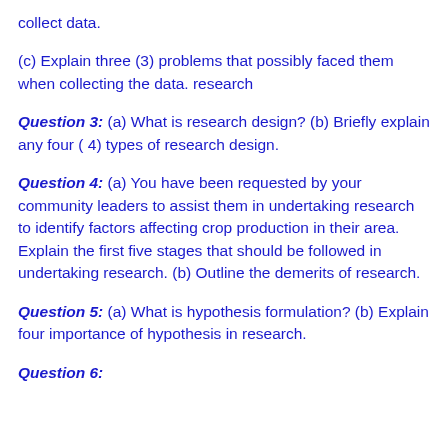collect data.
(c) Explain three (3) problems that possibly faced them when collecting the data. research
Question 3: (a) What is research design? (b) Briefly explain any four ( 4) types of research design.
Question 4: (a) You have been requested by your community leaders to assist them in undertaking research to identify factors affecting crop production in their area. Explain the first five stages that should be followed in undertaking research. (b) Outline the demerits of research.
Question 5: (a) What is hypothesis formulation? (b) Explain four importance of hypothesis in research.
Question 6: